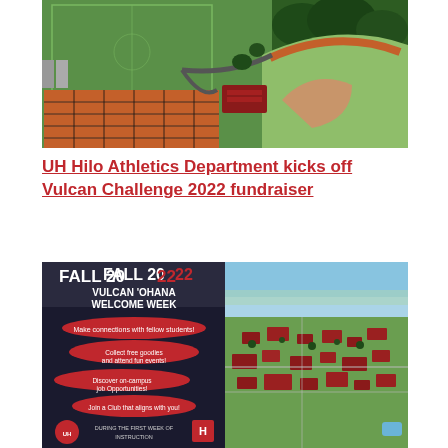[Figure (photo): Aerial view of UH Hilo athletic fields including tennis courts with red/orange surfaces, a baseball/softball field with red warning track, green grass soccer fields, and surrounding trees and parking areas.]
UH Hilo Athletics Department kicks off Vulcan Challenge 2022 fundraiser
[Figure (photo): Composite image split into two halves: left side shows a Fall 2022 Vulcan 'Ohana Welcome Week promotional flyer with red oval badges listing activities (Make connections with fellow students!, Collect free goodies and attend fun events!, Discover on-campus job Opportunities!, Join a Club that aligns with you!, During the First Week of Instruction) on a dark background with University of Hawaii at Hilo logo; right side shows an aerial view of Hilo city with neighborhoods, red-roofed buildings, palm trees, and ocean in the background.]